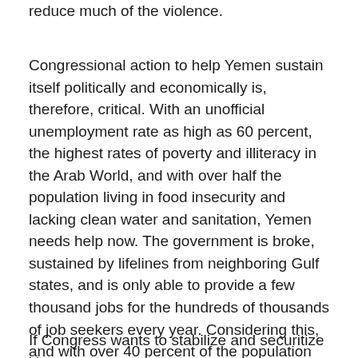reduce much of the violence.
Congressional action to help Yemen sustain itself politically and economically is, therefore, critical. With an unofficial unemployment rate as high as 60 percent, the highest rates of poverty and illiteracy in the Arab World, and with over half the population living in food insecurity and lacking clean water and sanitation, Yemen needs help now. The government is broke, sustained by lifelines from neighboring Gulf states, and is only able to provide a few thousand jobs for the hundreds of thousands of job seekers every year. Considering this, and with over 40 percent of the population under the age of 16, those job numbers will only get worse.
If Congress wants to stabilize and securitize Yemen so